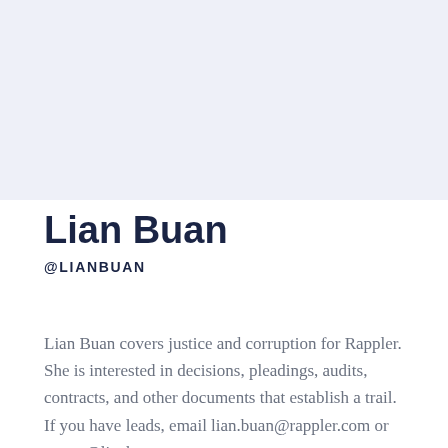[Figure (other): Light blue-gray background area occupying the top half of the page, likely a profile photo placeholder]
Lian Buan
@LIANBUAN
Lian Buan covers justice and corruption for Rappler. She is interested in decisions, pleadings, audits, contracts, and other documents that establish a trail. If you have leads, email lian.buan@rappler.com or tweet @lianbuan